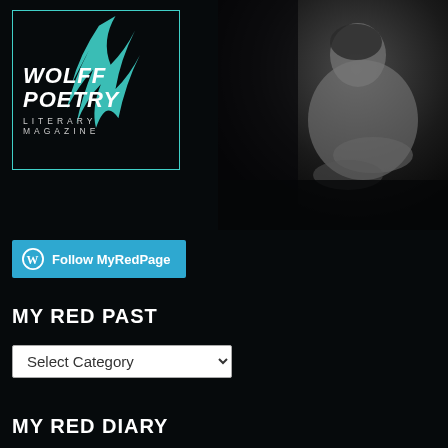[Figure (logo): Wolff Poetry Literary Magazine logo: teal lightning bolt feather graphic inside a teal-bordered box with white bold italic text 'WOLFF POETRY' and subtitle 'LITERARY MAGAZINE']
[Figure (photo): Black and white photograph of a person curled up, hugging their knees, shot from the side against a dark background — right half of the page header]
Follow MyRedPage
MY RED PAST
Select Category
MY RED DIARY